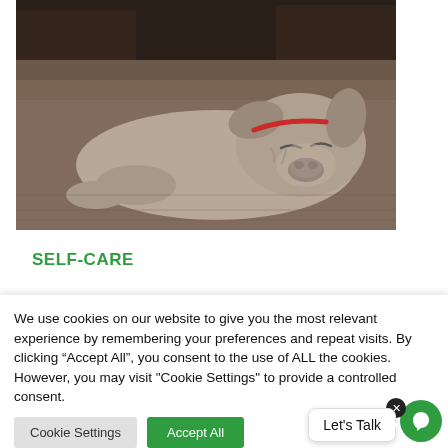[Figure (photo): A Weimaraner dog sleeping on a brown carpet or dog bed, eyes closed, with a red collar visible]
SELF-CARE
We use cookies on our website to give you the most relevant experience by remembering your preferences and repeat visits. By clicking “Accept All”, you consent to the use of ALL the cookies. However, you may visit "Cookie Settings" to provide a controlled consent.
Cookie Settings | Accept All
Let's Talk